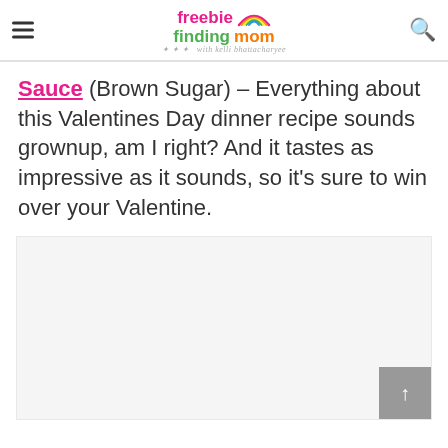freebie finding mom with kelli bhattacharyee
Sauce (Brown Sugar) – Everything about this Valentines Day dinner recipe sounds grownup, am I right? And it tastes as impressive as it sounds, so it's sure to win over your Valentine.
[Figure (other): Light grey placeholder image area for a recipe photo]